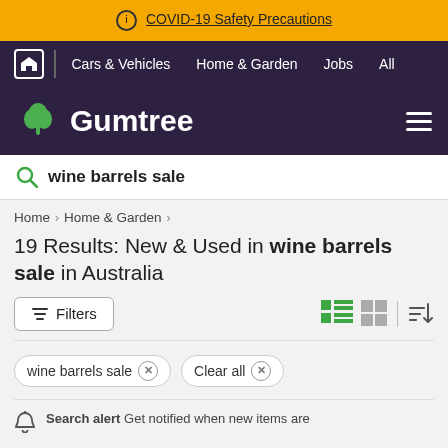ⓘ COVID-19 Safety Precautions
Cars & Vehicles  Home & Garden  Jobs  All
Gumtree
wine barrels sale
Home > Home & Garden >
19 Results: New & Used in wine barrels sale in Australia
Filters
wine barrels sale ×  Clear all ×
Search alert Get notified when new items are